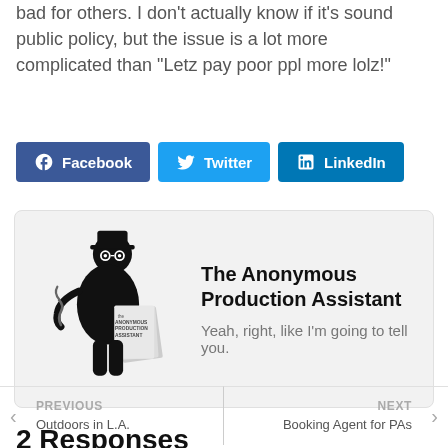bad for others. I don't actually know if it's sound public policy, but the issue is a lot more complicated than “Letz pay poor ppl more lolz!”
[Figure (infographic): Social sharing buttons for Facebook, Twitter, and LinkedIn]
[Figure (logo): Author box with The Anonymous Production Assistant logo (black silhouette figure with papers), name 'The Anonymous Production Assistant', and tagline 'Yeah, right, like I’m going to tell you.']
PREVIOUS
Outdoors in L.A.
NEXT
Booking Agent for PAs
2 Responses